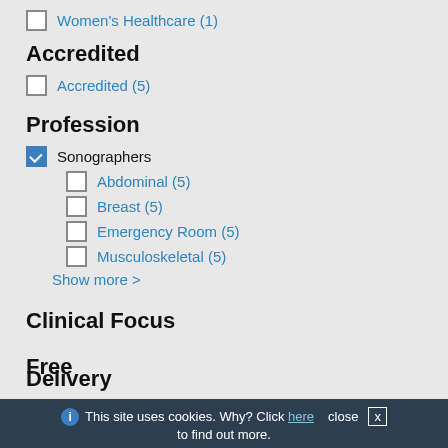Women's Healthcare (1)
Accredited
Accredited (5)
Profession
Sonographers
Abdominal (5)
Breast (5)
Emergency Room (5)
Musculoskeletal (5)
Show more >
Clinical Focus
Free
Delivery
This site uses cookies. Why? Click here to find out more.